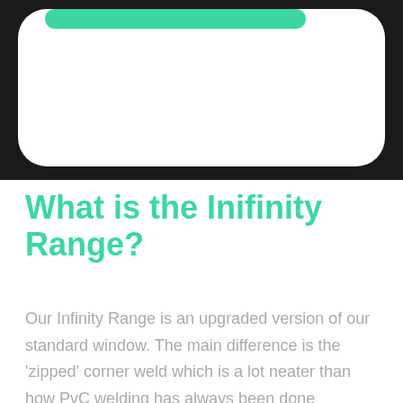[Figure (illustration): Top portion showing a dark background with a white rounded card shape and a green rounded bar at the top of the card]
What is the Inifinity Range?
Our Infinity Range is an upgraded version of our standard window. The main difference is the 'zipped' corner weld which is a lot neater than how PvC welding has always been done previously.